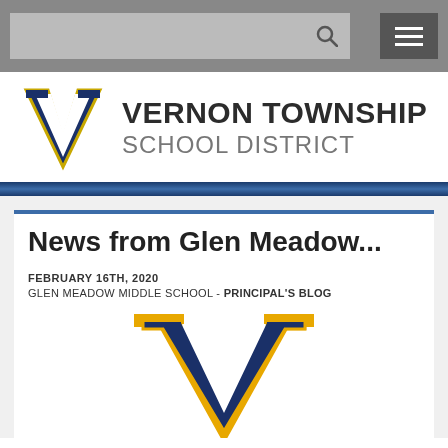Vernon Township School District - navigation bar with search and menu
[Figure (logo): Vernon Township School District logo with large blue serif V and school name text]
News from Glen Meadow...
FEBRUARY 16TH, 2020
GLEN MEADOW MIDDLE SCHOOL - PRINCIPAL'S BLOG
[Figure (logo): Vernon Township School District V logo in navy blue and gold/yellow colors]